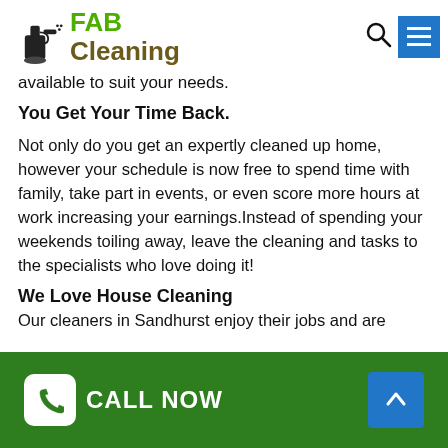[Figure (logo): FAB Cleaning logo with cleaning spray bottle icon, green FAB text and brown Cleaning text]
available to suit your needs.
You Get Your Time Back.
Not only do you get an expertly cleaned up home, however your schedule is now free to spend time with family, take part in events, or even score more hours at work increasing your earnings.Instead of spending your weekends toiling away, leave the cleaning and tasks to the specialists who love doing it!
We Love House Cleaning
Our cleaners in Sandhurst enjoy their jobs and are
CALL NOW